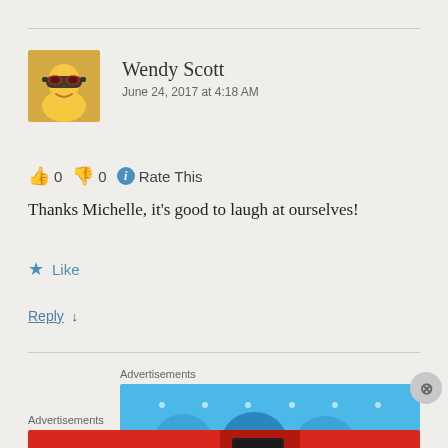Wendy Scott
June 24, 2017 at 4:18 AM
👍 0 👎 0 ℹ Rate This
Thanks Michelle, it's good to laugh at ourselves!
★ Like
Reply ↓
Advertisements
[Figure (other): Blue advertisement banner with dots and arc shapes]
Advertisements
[Figure (other): Pocket Casts red advertisement banner: An app by listeners, for listeners.]